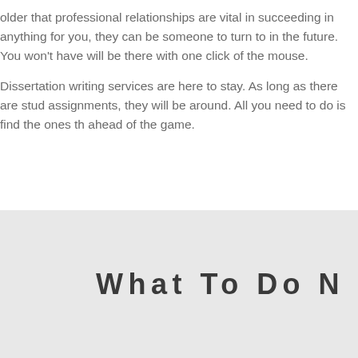older that professional relationships are vital in succeeding in anything for you, they can be someone to turn to in the future. You won't have will be there with one click of the mouse.
Dissertation writing services are here to stay. As long as there are students with assignments, they will be around. All you need to do is find the ones that are ahead of the game.
What To Do N